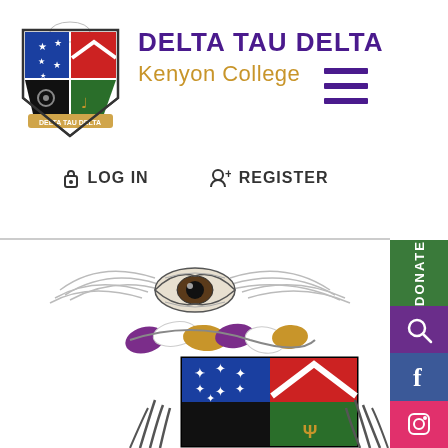[Figure (logo): Delta Tau Delta fraternity shield logo with colored quadrants]
DELTA TAU DELTA
Kenyon College
[Figure (illustration): Hamburger menu icon (three horizontal purple bars)]
LOG IN
REGISTER
[Figure (illustration): Delta Tau Delta large crest illustration with eye, rope/braid in purple gold white, and colored shield quadrants (blue with stars, red with chevron, black, green)]
DONATE
[Figure (illustration): Search icon (magnifying glass) in purple sidebar]
[Figure (logo): Facebook logo in blue sidebar]
[Figure (logo): Instagram logo in pink/red sidebar]